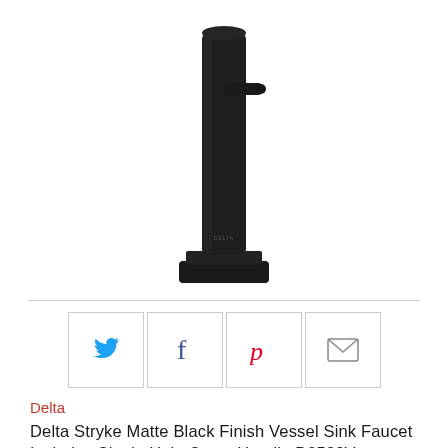[Figure (photo): Matte black vessel sink faucet with tall cylindrical body and wide square base, Delta brand, shown on white background]
[Figure (infographic): Social sharing buttons: Twitter (blue bird), Facebook (f), Pinterest (red P), Email (envelope icon)]
Delta
Delta Stryke Matte Black Finish Vessel Sink Faucet Includes Single Helo Cross Handle D3588V
To order this item, buy the components listed below!